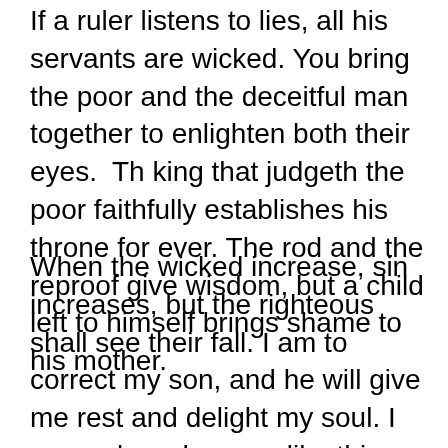If a ruler listens to lies, all his servants are wicked. You bring the poor and the deceitful man together to enlighten both their eyes.  Th king that judgeth the poor faithfully establishes his throne for ever. The rod and the reproof give wisdom, but a child left to himself brings shame to his mother.
When the wicked increase, sin increases, but the righteous shall see their fall. I am to correct my son, and he will give me rest and delight my soul. I remembered verses like this when raising Anthoni. It helped me to be a strong mom because I knew I had a responsibility to keep him from being evil to